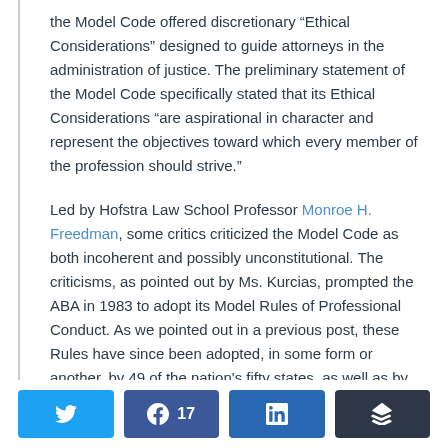the Model Code offered discretionary “Ethical Considerations” designed to guide attorneys in the administration of justice. The preliminary statement of the Model Code specifically stated that its Ethical Considerations “are aspirational in character and represent the objectives toward which every member of the profession should strive.”
Led by Hofstra Law School Professor Monroe H. Freedman, some critics criticized the Model Code as both incoherent and possibly unconstitutional. The criticisms, as pointed out by Ms. Kurcias, prompted the ABA in 1983 to adopt its Model Rules of Professional Conduct. As we pointed out in a previous post, these Rules have since been adopted, in some form or another, by 49 of the nation's fifty states, as well as by the District of Columbia, Virgin Islands, and Guam.
[Figure (other): Social share bar with Twitter, Facebook (17 shares), LinkedIn, and Buffer buttons]